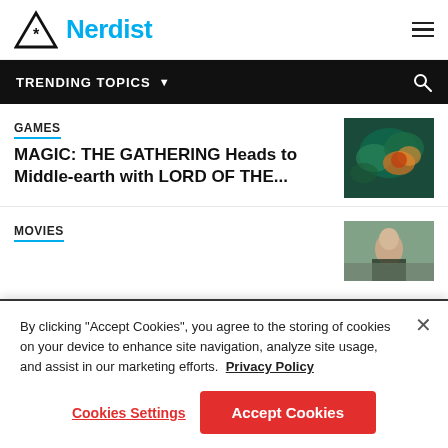[Figure (logo): Nerdist logo: triangle with asterisk and cyan 'Nerdist' text]
TRENDING TOPICS
GAMES
MAGIC: THE GATHERING Heads to Middle-earth with LORD OF THE...
[Figure (illustration): Fantasy art image with green and orange hues, Lord of the Rings themed]
MOVIES
[Figure (photo): Movie still showing a bald man outdoors]
By clicking “Accept Cookies”, you agree to the storing of cookies on your device to enhance site navigation, analyze site usage, and assist in our marketing efforts. Privacy Policy
Cookies Settings
Accept Cookies